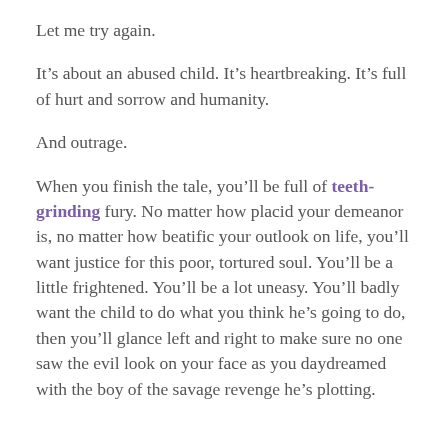Let me try again.
It’s about an abused child. It’s heartbreaking. It’s full of hurt and sorrow and humanity.
And outrage.
When you finish the tale, you’ll be full of teeth-grinding fury. No matter how placid your demeanor is, no matter how beatific your outlook on life, you’ll want justice for this poor, tortured soul. You’ll be a little frightened. You’ll be a lot uneasy. You’ll badly want the child to do what you think he’s going to do, then you’ll glance left and right to make sure no one saw the evil look on your face as you daydreamed with the boy of the savage revenge he’s plotting.